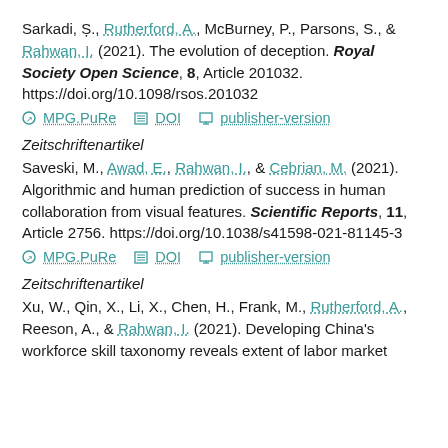Sarkadi, Ș., Rutherford, A., McBurney, P., Parsons, S., & Rahwan, I. (2021). The evolution of deception. Royal Society Open Science, 8, Article 201032. https://doi.org/10.1098/rsos.201032
⊙ MPG.PuRe  ≡ DOI  □ publisher-version
Zeitschriftenartikel
Saveski, M., Awad, E., Rahwan, I., & Cebrian, M. (2021). Algorithmic and human prediction of success in human collaboration from visual features. Scientific Reports, 11, Article 2756. https://doi.org/10.1038/s41598-021-81145-3
⊙ MPG.PuRe  ≡ DOI  □ publisher-version
Zeitschriftenartikel
Xu, W., Qin, X., Li, X., Chen, H., Frank, M., Rutherford, A., Reeson, A., & Rahwan, I. (2021). Developing China's workforce skill taxonomy reveals extent of labor market